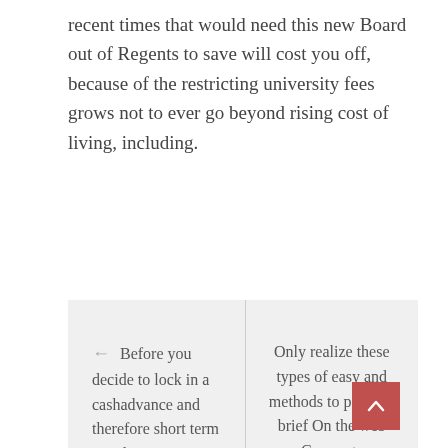recent times that would need this new Board out of Regents to save will cost you off, because of the restricting university fees grows not to ever go beyond rising cost of living, including.
← Before you decide to lock in a cashadvance and therefore short term Omaha, NE contemplate almost every other pay day loan on the web Choices
Only realize these types of easy and methods to pass the brief On the web Coverage Confirmation way to get your MeetUp ID! →